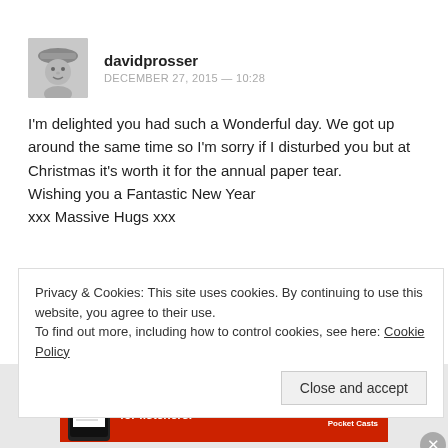[Figure (photo): User avatar photo of davidprosser, grayscale portrait of a person wearing a hat]
davidprosser
DECEMBER 27, 2015 — 10:28
I'm delighted you had such a Wonderful day. We got up around the same time so I'm sorry if I disturbed you but at Christmas it's worth it for the annual paper tear.
Wishing you a Fantastic New Year
xxx Massive Hugs xxx
Privacy & Cookies: This site uses cookies. By continuing to use this website, you agree to their use.
To find out more, including how to control cookies, see here: Cookie Policy
Close and accept
Advertisements
[Figure (screenshot): Pocket Casts advertisement banner: red background with text 'An app by listeners, for listeners.' and Pocket Casts logo, showing smartphone with 'Distributed' podcast app]